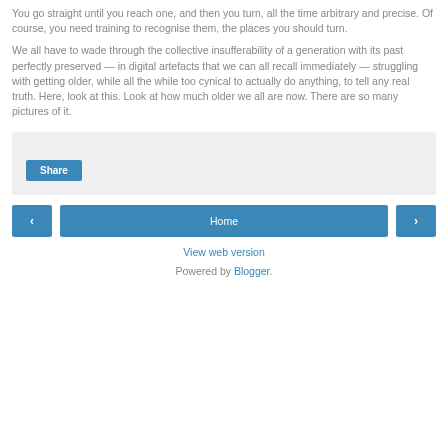You go straight until you reach one, and then you turn, all the time arbitrary and precise. Of course, you need training to recognise them, the places you should turn.
We all have to wade through the collective insufferability of a generation with its past perfectly preserved — in digital artefacts that we can all recall immediately — struggling with getting older, while all the while too cynical to actually do anything, to tell any real truth. Here, look at this. Look at how much older we all are now. There are so many pictures of it.
[Figure (other): Share button widget in a light grey box]
[Figure (other): Navigation row with left arrow button, Home button, and right arrow button]
View web version
Powered by Blogger.